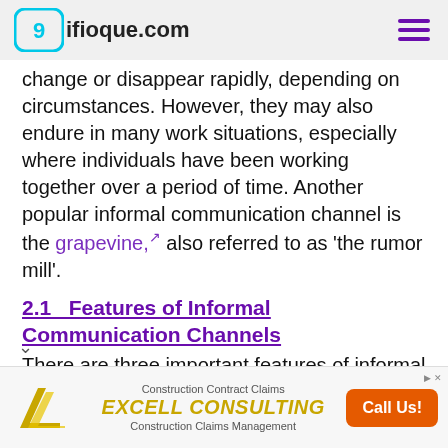9ifiodue.com
change or disappear rapidly, depending on circumstances. However, they may also endure in many work situations, especially where individuals have been working together over a period of time. Another popular informal communication channel is the grapevine, also referred to as ‘the rumor mill’.
2.1   Features of Informal Communication Channels
There are three important features of informal communication:
[Figure (other): Advertisement banner for Excell Consulting — Construction Contract Claims and Construction Claims Management, with a Call Us! button]